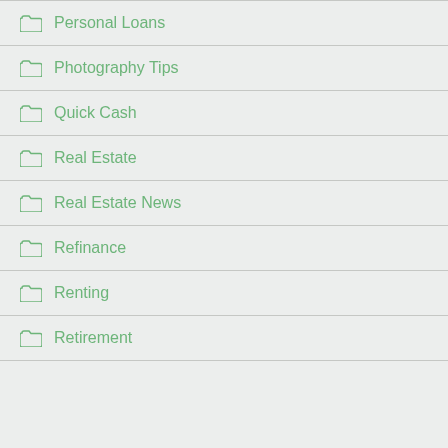Personal Loans
Photography Tips
Quick Cash
Real Estate
Real Estate News
Refinance
Renting
Retirement